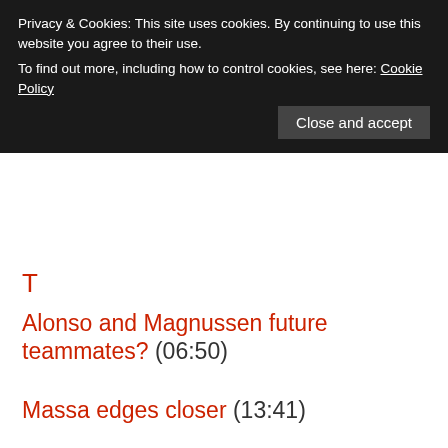Kimi hoping for India return (05:25)
[Figure (screenshot): Cookie consent overlay with text: Privacy & Cookies: This site uses cookies. By continuing to use this website you agree to their use. To find out more, including how to control cookies, see here: Cookie Policy. Button: Close and accept]
T...
Alonso and Magnussen future teammates? (06:50)
Massa edges closer (13:41)
Customer cars on the agenda again (15:12)
Dodgy tyres again (15:42)